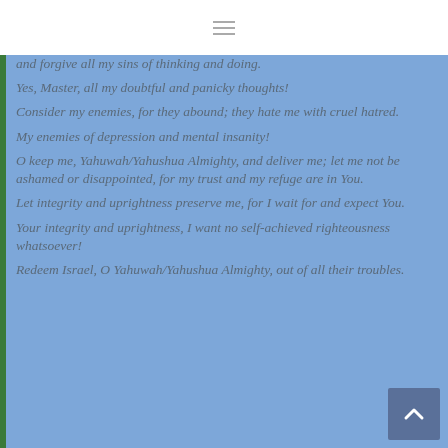≡
and forgive all my sins of thinking and doing.
Yes, Master, all my doubtful and panicky thoughts!
Consider my enemies, for they abound; they hate me with cruel hatred.
My enemies of depression and mental insanity!
O keep me, Yahuwah/Yahushua Almighty, and deliver me; let me not be ashamed or disappointed, for my trust and my refuge are in You.
Let integrity and uprightness preserve me, for I wait for and expect You.
Your integrity and uprightness, I want no self-achieved righteousness whatsoever!
Redeem Israel, O Yahuwah/Yahushua Almighty, out of all their troubles.